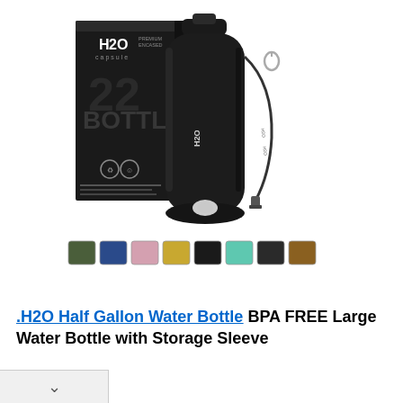[Figure (photo): H2O Capsule half gallon black water bottle with neoprene sleeve and carrying strap, shown next to its black product box. Below are 8 color variant thumbnail swatches.]
.H2O Half Gallon Water Bottle BPA FREE Large Water Bottle with Storage Sleeve